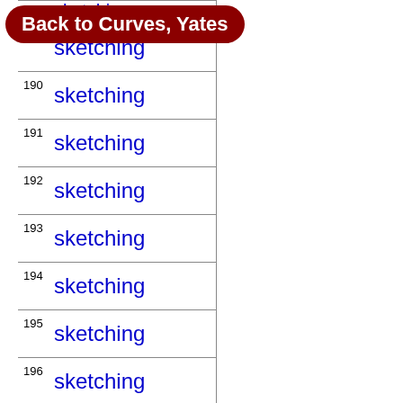Back to Curves, Yates
189 sketching
190 sketching
191 sketching
192 sketching
193 sketching
194 sketching
195 sketching
196 sketching
197 sketching
198 sketching (with navigation arrow)
199 sketching (partially visible)